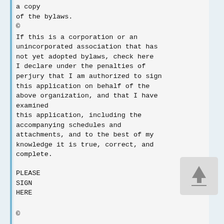a copy
of the bylaws.
©
If this is a corporation or an unincorporated association that has not yet adopted bylaws, check here
I declare under the penalties of perjury that I am authorized to sign this application on behalf of the above organization, and that I have examined
this application, including the accompanying schedules and attachments, and to the best of my knowledge it is true, correct, and complete.
PLEASE
SIGN
HERE
©